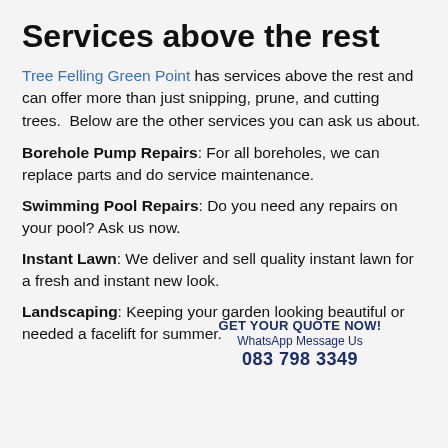Services above the rest
Tree Felling Green Point has services above the rest and can offer more than just snipping, prune, and cutting trees.  Below are the other services you can ask us about.
Borehole Pump Repairs: For all boreholes, we can replace parts and do service maintenance.
Swimming Pool Repairs: Do you need any repairs on your pool? Ask us now.
Instant Lawn: We deliver and sell quality instant lawn for a fresh and instant new look.
GET your QUOTE now!
WhatsApp Message Us
083 798 3349
Landscaping: Keeping your garden looking beautiful or needed a facelift for summer.